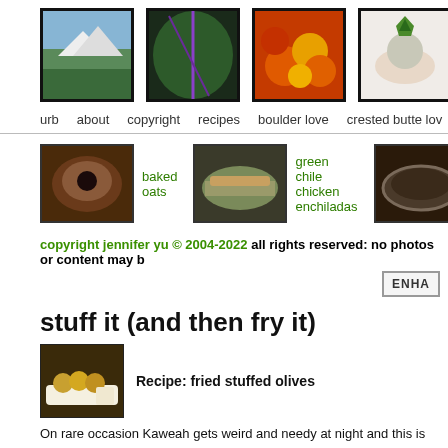[Figure (photo): Header banner with four food/nature photos and large letter U]
urb   about   copyright   recipes   boulder love   crested butte love
[Figure (photo): Three recipe thumbnails: baked oats, green chile chicken enchiladas, chow]
copyright jennifer yu © 2004-2022 all rights reserved: no photos or content may b
[Figure (other): ENHA button/box]
stuff it (and then fry it)
[Figure (photo): Thumbnail of fried stuffed olives recipe]
Recipe: fried stuffed olives
On rare occasion Kaweah gets weird and needy at night and this is one of those now (pawing at me, resting her chin on my lap, shoving her nose under my forea one of us is on travel. Jeremy used to think it only happened when I was away be